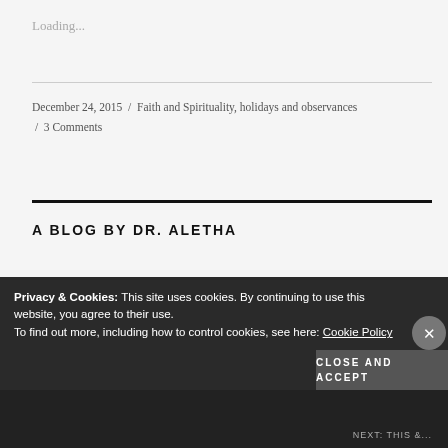Loading...
December 24, 2015  /  Faith and Spirituality, holidays and observances  /  3 Comments
A BLOG BY DR. ALETHA
Aletha Cress Oglesby, M.D.
[Figure (photo): Circular avatar photo of a woman with blue/gray background]
Privacy & Cookies: This site uses cookies. By continuing to use this website, you agree to their use.
To find out more, including how to control cookies, see here: Cookie Policy
Close and accept